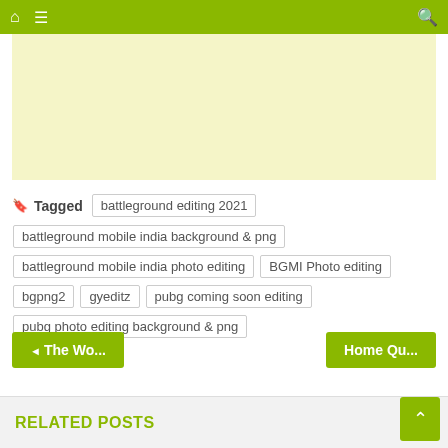Navigation bar with home icon, menu icon, and search icon
[Figure (other): Light yellow advertisement banner placeholder]
Tagged battleground editing 2021 battleground mobile india background & png battleground mobile india photo editing BGMI Photo editing bgpng2 gyeditz pubg coming soon editing pubg photo editing background & png
◄ The Wo...
Home Qu...
RELATED POSTS